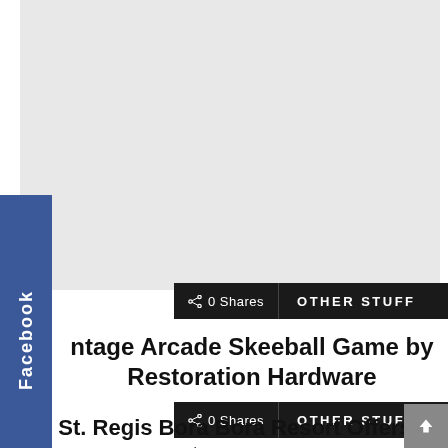[Figure (photo): Gray placeholder image area representing a blurred or unloaded image]
Facebook
0 Shares  OTHER STUFF
ntage Arcade Skeeball Game by Restoration Hardware
0 Shares  OTHER STUFF
St. Regis Bora Bora Resort Offers $250,000 Wedding Package on Charity Auction